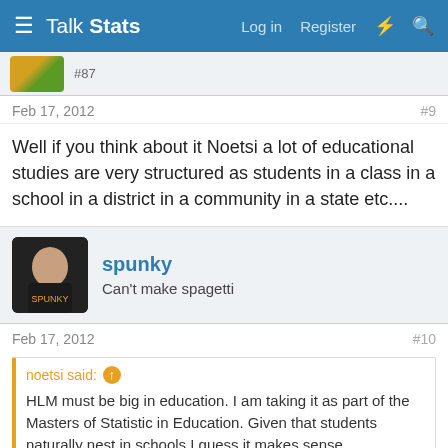Talk Stats | Log in | Register
#87
Feb 17, 2012   #9
Well if you think about it Noetsi a lot of educational studies are very structured as students in a class in a school in a district in a community in a state etc....
spunky
Can't make spagetti
Feb 17, 2012   #10
noetsi said: ↑
HLM must be big in education. I am taking it as part of the Masters of Statistic in Education. Given that students naturally nest in schools I guess it makes sense.
it is HUUUUUGE rite now... linear mixed models (the real name of HLM/MultiLevel models) are incredibly versatile and very